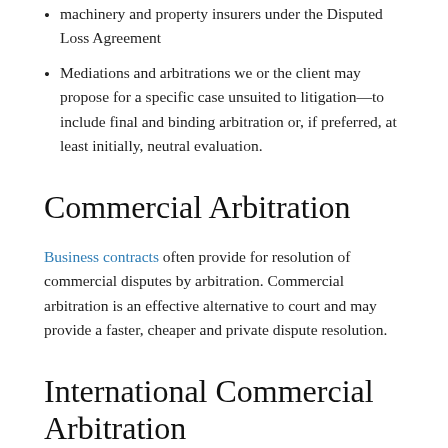machinery and property insurers under the Disputed Loss Agreement
Mediations and arbitrations we or the client may propose for a specific case unsuited to litigation—to include final and binding arbitration or, if preferred, at least initially, neutral evaluation.
Commercial Arbitration
Business contracts often provide for resolution of commercial disputes by arbitration. Commercial arbitration is an effective alternative to court and may provide a faster, cheaper and private dispute resolution.
International Commercial Arbitration
Businesses are increasingly involved in international